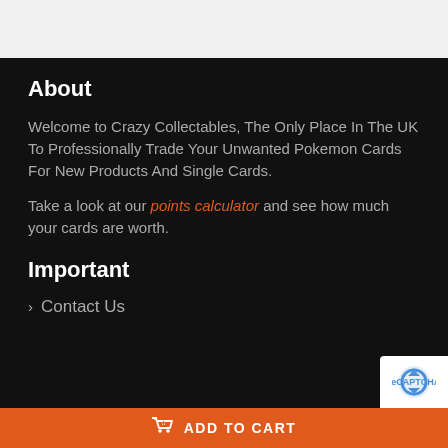About
Welcome to Crazy Collectables, The Only Place In The UK To Professionally Trade Your Unwanted Pokemon Cards For New Products And Single Cards.
Take a look at our points calculator and see how much your cards are worth.
Important
> Contact Us
ADD TO CART